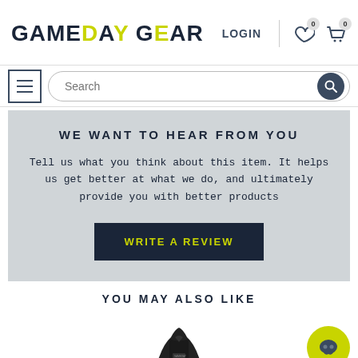[Figure (screenshot): Gameday Gear website header with logo, LOGIN link, wishlist icon with badge 0, cart icon with badge 0]
[Figure (screenshot): Search bar with hamburger menu button on left and search icon button on right]
WE WANT TO HEAR FROM YOU
Tell us what you think about this item. It helps us get better at what we do, and ultimately provide you with better products
[Figure (screenshot): WRITE A REVIEW button, dark navy background with yellow-green text]
YOU MAY ALSO LIKE
[Figure (photo): Partial product photo — dark colored collared shirt/jacket]